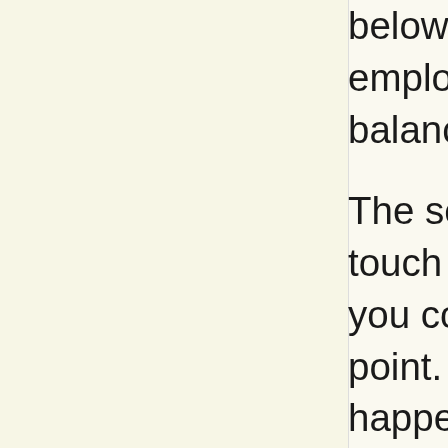below and to right employ the sense of balance, therefore,
The senses mentioned touch something, you come up again point. Instead, you happens, happens everything you exp internal to the bod not show you what sense of movemen movements I make also internal move there is my forward the sense of mover too, you perceive m